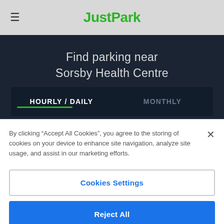JustPark
Find parking near Sorsby Health Centre
HOURLY / DAILY    MONTHLY
By clicking "Accept All Cookies", you agree to the storing of cookies on your device to enhance site navigation, analyze site usage, and assist in our marketing efforts.
Cookies Settings
Reject All